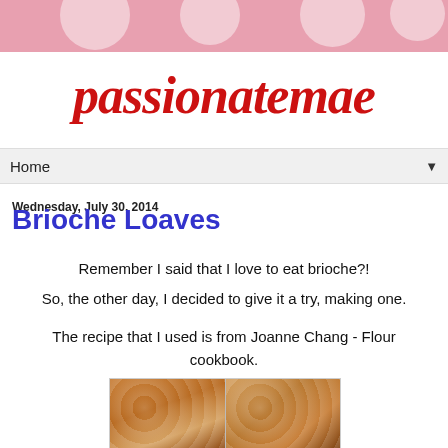passionatemae
Home
Wednesday, July 30, 2014
Brioche Loaves
Remember I said that I love to eat brioche?!
So, the other day, I decided to give it a try, making one.
The recipe that I used is from Joanne Chang - Flour cookbook.
[Figure (photo): Two photos of brioche pastries side by side - left shows a sticky bun with nuts on top, right shows a round brioche dusted with powdered sugar]